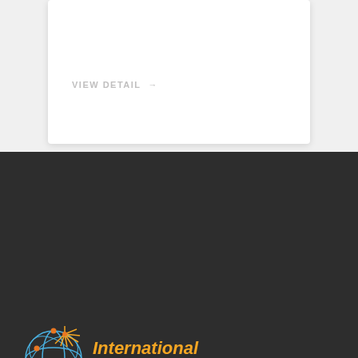VIEW DETAIL →
[Figure (logo): International Schools logo with globe network graphic in blue and orange, text 'International Schools' in orange italic font]
[Figure (infographic): Social media icons: Facebook (f), Twitter (bird), LinkedIn (in) in dark grey square buttons]
Locations
Hong Kong
India